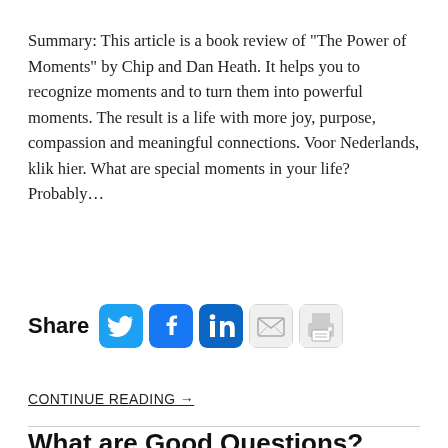Summary: This article is a book review of “The Power of Moments” by Chip and Dan Heath. It helps you to recognize moments and to turn them into powerful moments. The result is a life with more joy, purpose, compassion and meaningful connections. Voor Nederlands, klik hier. What are special moments in your life? Probably…
[Figure (infographic): Share buttons row: Twitter (blue bird icon), Facebook (blue F icon), LinkedIn (blue in icon), Email (envelope icon), Print (printer icon)]
CONTINUE READING →
What are Good Questions?